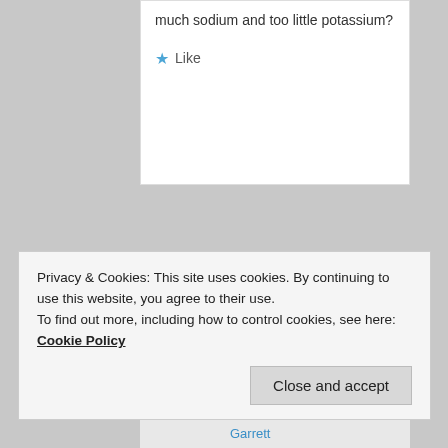much sodium and too little potassium?
Like
esmeelafleur on March 10, 2018 at 12:28 PM said:
Yes, exactly.
Privacy & Cookies: This site uses cookies. By continuing to use this website, you agree to their use.
To find out more, including how to control cookies, see here: Cookie Policy
Close and accept
Garrett